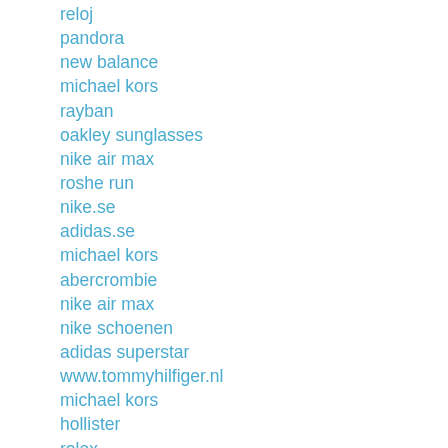reloj
pandora
new balance
michael kors
rayban
oakley sunglasses
nike air max
roshe run
nike.se
adidas.se
michael kors
abercrombie
nike air max
nike schoenen
adidas superstar
www.tommyhilfiger.nl
michael kors
hollister
rolex
nike huarache
ray ban
nike roshe